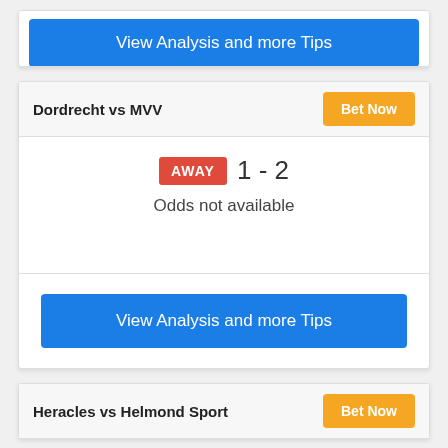View Analysis and more Tips
Dordrecht vs MVV
Bet Now
AWAY 1 - 2
Odds not available
View Analysis and more Tips
Heracles vs Helmond Sport
Bet Now